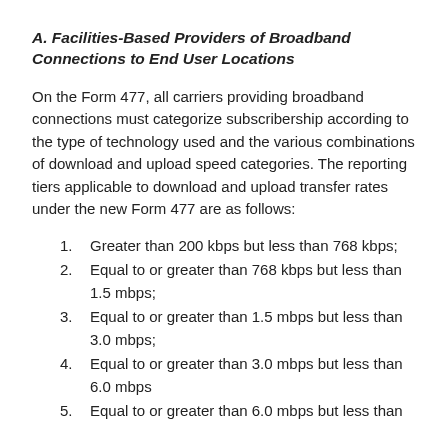A. Facilities-Based Providers of Broadband Connections to End User Locations
On the Form 477, all carriers providing broadband connections must categorize subscribership according to the type of technology used and the various combinations of download and upload speed categories. The reporting tiers applicable to download and upload transfer rates under the new Form 477 are as follows:
Greater than 200 kbps but less than 768 kbps;
Equal to or greater than 768 kbps but less than 1.5 mbps;
Equal to or greater than 1.5 mbps but less than 3.0 mbps;
Equal to or greater than 3.0 mbps but less than 6.0 mbps
Equal to or greater than 6.0 mbps but less than